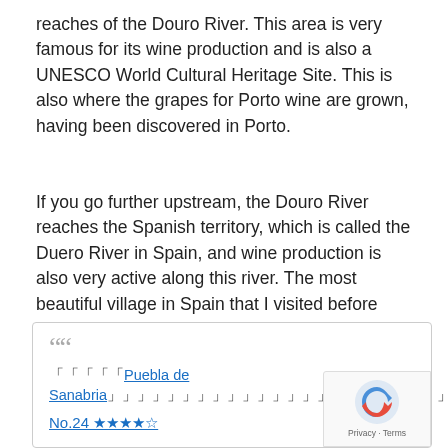reaches of the Douro River. This area is very famous for its wine production and is also a UNESCO World Cultural Heritage Site. This is also where the grapes for Porto wine are grown, having been discovered in Porto.
If you go further upstream, the Douro River reaches the Spanish territory, which is called the Duero River in Spain, and wine production is also very active along this river. The most beautiful village in Spain that I visited before coming here
「「「「「「Puebla de Sanabria」」」」」」」」」」」」」」」」」」」」」」」」 No.24 ★★★★☆